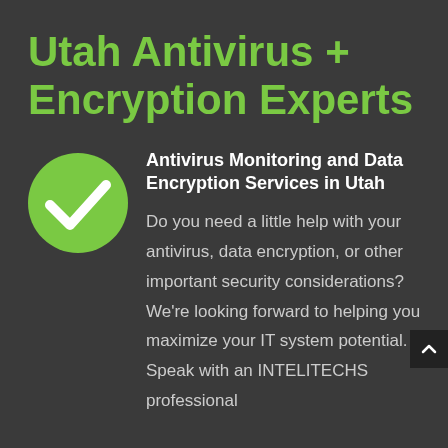Utah Antivirus + Encryption Experts
[Figure (illustration): Green circle with white checkmark icon]
Antivirus Monitoring and Data Encryption Services in Utah
Do you need a little help with your antivirus, data encryption, or other important security considerations? We’re looking forward to helping you maximize your IT system potential. Speak with an INTELITECHS professional